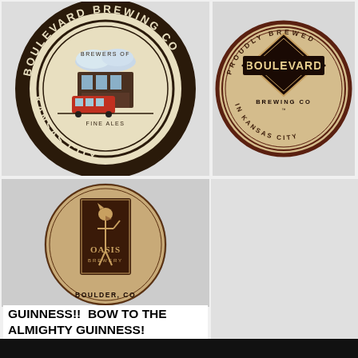[Figure (logo): Boulevard Brewing Co. beer coaster — circular, cream/tan background, dark brown text reading BOULEVARD BREWING CO around the outer ring, KANSAS CITY at the bottom, center illustration of a building/brewery with red trolley car, inner ring text BREWERS OF FINE ALES]
[Figure (logo): Boulevard Brewing Co. beer coaster — circular, tan background, dark border rings, center diamond shape with BOULEVARD text in a box, BREWING CO below, outer ring text PROUDLY BREWED IN KANSAS CITY]
[Figure (logo): Oasis Brewery beer coaster — circular, tan/kraft cardboard background, center dark brown rectangular logo with Egyptian Anubis figure, OASIS BREWERY text, BOULDER, CO text below]
GUINNESS!!  BOW TO THE ALMIGHTY GUINNESS!
[Figure (photo): Dark/black strip at the bottom of the page showing partial coaster images]